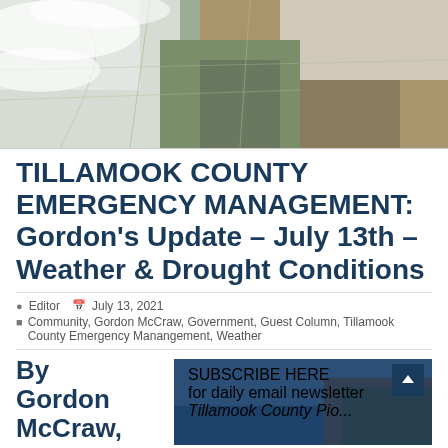[Figure (photo): Satellite aerial view of a coastline showing cloud cover over land and coastal terrain, likely showing Oregon/California coast from space with green lines indicating county/state borders.]
TILLAMOOK COUNTY EMERGENCY MANAGEMENT: Gordon's Update – July 13th – Weather & Drought Conditions
Editor   July 13, 2021
Community, Gordon McCraw, Government, Guest Column, Tillamook County Emergency Manangement, Weather
By Gordon McCraw,
[Figure (infographic): Subscribe here promotional box with text: SUBSCRIBE HERE for daily email newsletter Tillamook County Pioneer, with a background coastal photo and an up-arrow button in dark blue.]